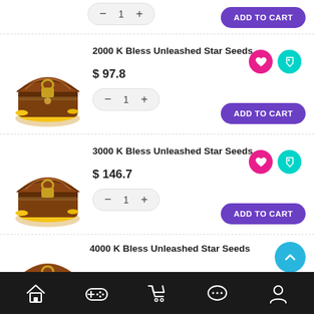[Figure (illustration): Partial view of top product row with quantity selector and Add to Cart button]
2000 K Bless Unleashed Star Seeds
[Figure (illustration): Treasure chest with gold coins illustration]
$ 97.8
ADD TO CART
3000 K Bless Unleashed Star Seeds
[Figure (illustration): Treasure chest with gold coins illustration]
$ 146.7
ADD TO CART
4000 K Bless Unleashed Star Seeds
[Figure (illustration): Partial treasure chest with gold coins illustration]
Home | Controller | Cart | Chat | Profile